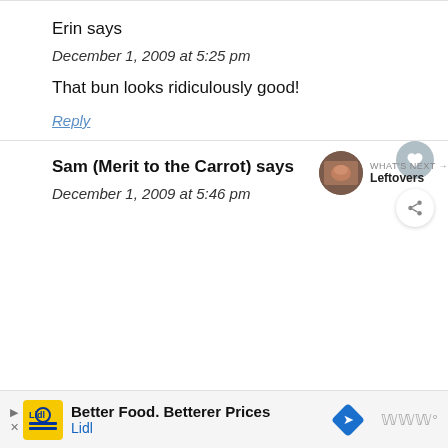Erin says
December 1, 2009 at 5:25 pm
That bun looks ridiculously good!
Reply
Sam (Merit to the Carrot) says
December 1, 2009 at 5:46 pm
[Figure (infographic): WHAT'S NEXT arrow label with Leftovers thumbnail]
[Figure (infographic): Advertisement bar: Better Food. Betterer Prices - Lidl]